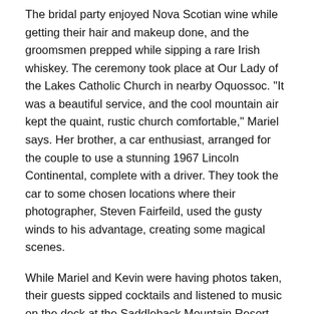The bridal party enjoyed Nova Scotian wine while getting their hair and makeup done, and the groomsmen prepped while sipping a rare Irish whiskey. The ceremony took place at Our Lady of the Lakes Catholic Church in nearby Oquossoc. "It was a beautiful service, and the cool mountain air kept the quaint, rustic church comfortable," Mariel says. Her brother, a car enthusiast, arranged for the couple to use a stunning 1967 Lincoln Continental, complete with a driver. They took the car to some chosen locations where their photographer, Steven Fairfeild, used the gusty winds to his advantage, creating some magical scenes.
While Mariel and Kevin were having photos taken, their guests sipped cocktails and listened to music on the deck at the Saddleback Mountain Resort. The couple rejoined the party and enjoyed a delicious meal and impressive speeches from their Maid of Honor and Best Man. Dean Ford and the Keepsakes, a Portland, Maine-based band, rocked the house for the rest of the evening. "They kept the dance floor moving!" Mariel says. "It was a great ending to an amazing day!"
In Mariel's words